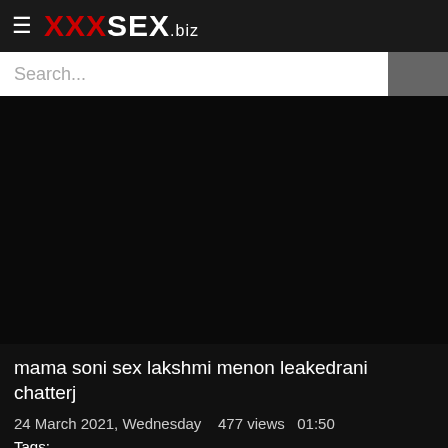XXX SEX .biz
Search...
[Figure (other): Black video player area]
mama soni sex lakshmi menon leakedrani chatterj
24 March 2021, Wednesday   477 views   01:50
Tags: